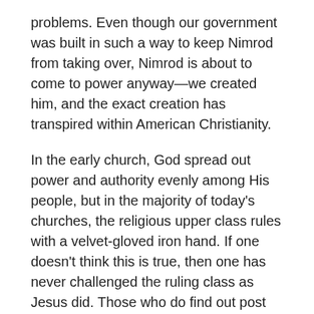problems. Even though our government was built in such a way to keep Nimrod from taking over, Nimrod is about to come to power anyway—we created him, and the exact creation has transpired within American Christianity.
In the early church, God spread out power and authority evenly among His people, but in the majority of today's churches, the religious upper class rules with a velvet-gloved iron hand. If one doesn't think this is true, then one has never challenged the ruling class as Jesus did. Those who do find out post haste that it has a dark side, that it often regards its dependents with contempt, and that its holy exterior remains that way only as long as one remains its fool: